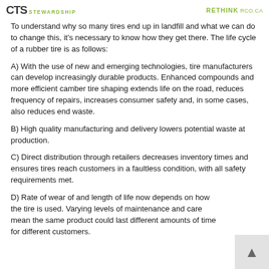CTS stewardship | RETHINK rco.ca
To understand why so many tires end up in landfill and what we can do to change this, it's necessary to know how they get there. The life cycle of a rubber tire is as follows:
A) With the use of new and emerging technologies, tire manufacturers can develop increasingly durable products. Enhanced compounds and more efficient camber tire shaping extends life on the road, reduces frequency of repairs, increases consumer safety and, in some cases, also reduces end waste.
B) High quality manufacturing and delivery lowers potential waste at production.
C) Direct distribution through retailers decreases inventory times and ensures tires reach customers in a faultless condition, with all safety requirements met.
D) Rate of wear of and length of life now depends on how the tire is used. Varying levels of maintenance and care mean the same product could last different amounts of time for different customers.